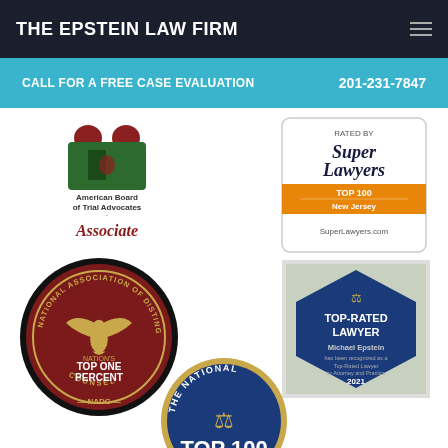THE EPSTEIN LAW FIRM
CALL FOR A FREE CASE EVALUATION    201-231-7847
[Figure (logo): American Board of Trial Advocates Associate badge with heraldic crest]
[Figure (logo): Rated by Super Lawyers TOP 100 New Jersey - SuperLawyers.com badge]
[Figure (logo): National Association of Distinguished Counsel - Nation's Top One Percent NADC circular badge]
[Figure (logo): Top-Rated Lawyer Michael Epstein hexagonal badge 2021]
[Figure (logo): The National Top 100 circular badge (partially visible)]